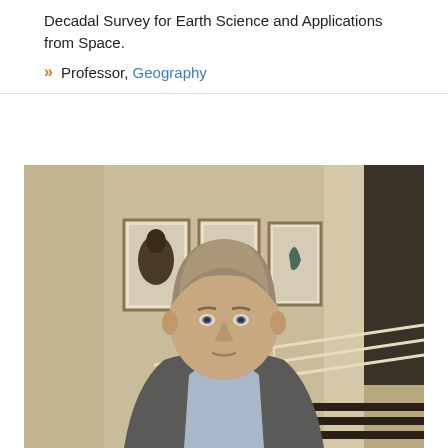Decadal Survey for Earth Science and Applications from Space.
Professor, Geography
[Figure (photo): Portrait photo of a middle-aged man with short grayish-brown hair, wearing a gray blazer and light blue shirt, standing in what appears to be an academic building hallway with framed artwork on the wall behind him.]